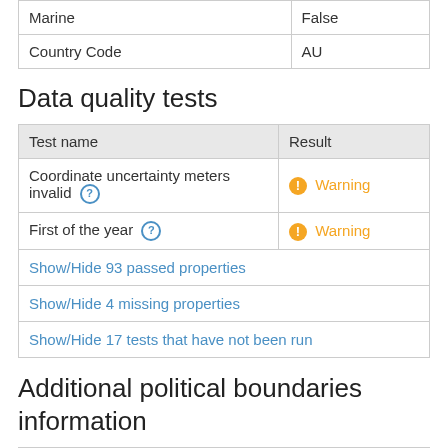|  |  |
| --- | --- |
| Marine | False |
| Country Code | AU |
Data quality tests
| Test name | Result |
| --- | --- |
| Coordinate uncertainty meters invalid [?] | ⚠ Warning |
| First of the year [?] | ⚠ Warning |
| Show/Hide 93 passed properties |  |
| Show/Hide 4 missing properties |  |
| Show/Hide 17 tests that have not been run |  |
Additional political boundaries information
| Area Management |
| --- |
| Fallow practice - dominant (cms) | No cereal producers |